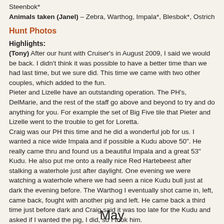Steenbok*
Animals taken (Janel) – Zebra, Warthog, Impala*, Blesbok*, Ostrich
Hunt Photos
Highlights:
(Tony) After our hunt with Cruiser's in August 2009, I said we would be back. I didn't think it was possible to have a better time than we had last time, but we sure did. This time we came with two other couples, which added to the fun.
Pieter and Lizelle have an outstanding operation. The PH's, DelMarie, and the rest of the staff go above and beyond to try and do anything for you. For example the set of Big Five tile that Pieter and Lizelle went to the trouble to get for Loretta.
Craig was our PH this time and he did a wonderful job for us. I wanted a nice wide Impala and if possible a Kudu above 50". He really came thru and found us a beautiful Impala and a great 53" Kudu. He also put me onto a really nice Red Hartebeest after stalking a waterhole just after daylight. One evening we were watching a waterhole where we had seen a nice Kudu bull just at dark the evening before. The Warthog I eventually shot came in, left, came back, fought with another pig and left. He came back a third time just before dark and Craig said it was too late for the Kudu and asked if I wanted the pig, I did, so I took him.
Read More
May